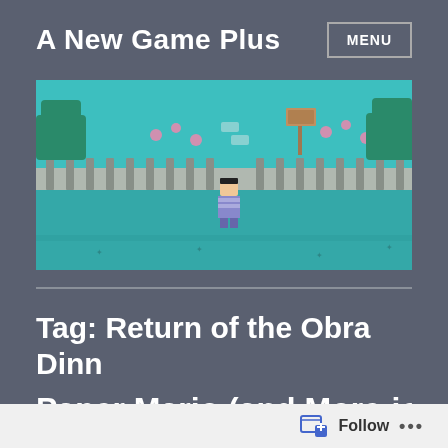A New Game Plus
MENU
[Figure (screenshot): Pixel art video game screenshot showing a top-down view of a character standing in a fenced area with teal ground, trees, pink flowers, and a sign post.]
Tag: Return of the Obra Dinn
Paper Mario (and More-io)
Follow ...